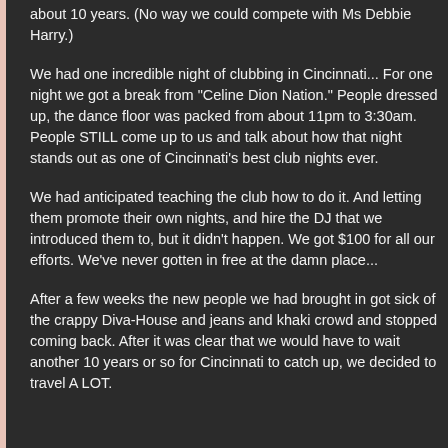about 10 years. (No way we could compete with Ms Debbie Harry.)
We had one incredible night of clubbing in Cincinnati... For one night we got a break from "Celine Dion Nation." People dressed up, the dance floor was packed from about 11pm to 3:30am. People STILL come up to us and talk about how that night stands out as one of Cincinnati's best club nights ever.
We had anticipated teaching the club how to do it. And letting them promote their own nights, and hire the DJ that we introduced them to, but it didn't happen. We got $100 for all our efforts. We've never gotten in free at the damn place...
After a few weeks the new people we had brought in got sick of the crappy Diva-House and jeans and khaki crowd and stopped coming back. After it was clear that we would have to wait another 10 years or so for Cincinnati to catch up, we decided to travel A LOT.